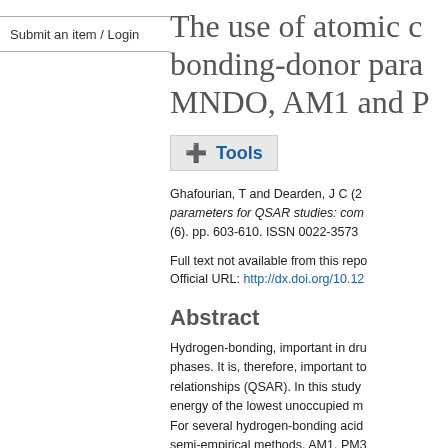Submit an item / Login
The use of atomic c… bonding-donor para… MNDO, AM1 and P…
+ Tools
Ghafourian, T and Dearden, J C (2… parameters for QSAR studies: com… (6). pp. 603-610. ISSN 0022-3573
Full text not available from this repo…
Official URL: http://dx.doi.org/10.12…
Abstract
Hydrogen-bonding, important in dru… phases. It is, therefore, important to… relationships (QSAR). In this study… energy of the lowest unoccupied m… For several hydrogen-bonding acid… semi-empirical methods, AM1, PM3… compared in correlations with solva…